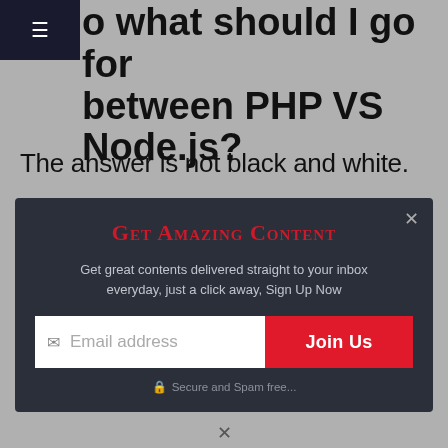o what should I go for between PHP VS Node.js?
The answer is not black and white.
[Figure (screenshot): Email subscription modal overlay with dark background. Contains title 'Get Amazing Content', description text about inbox delivery, email input field, 'Join Us' button, and 'Secure and Spam free...' message.]
This website uses cookies to improve your experience. We'll assume you're ok with this, but you can opt-out if you wish.